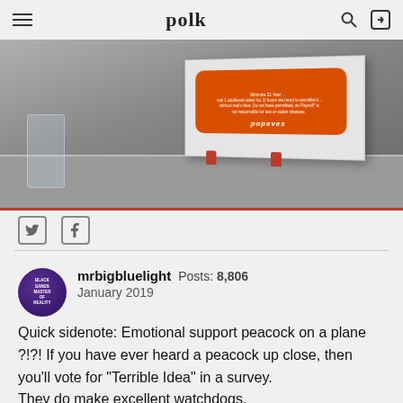polk
[Figure (photo): A Popeyes branded box/container with an orange label on a restaurant table, with a glass of water visible in the background.]
mrbigbluelight  Posts: 8,806
January 2019
Quick sidenote: Emotional support peacock on a plane ?!?! If you have ever heard a peacock up close, then you'll vote for "Terrible Idea" in a survey.
They do make excellent watchdogs.